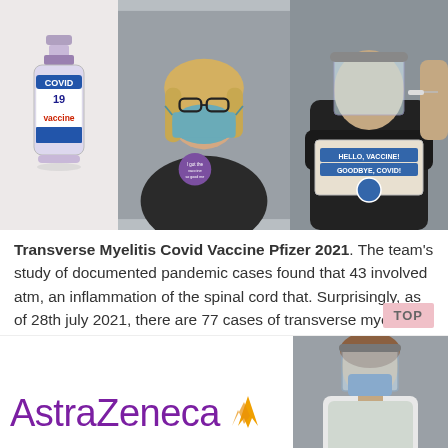[Figure (photo): Three-panel image: left panel shows a COVID-19 vaccine bottle illustration, center shows a nurse wearing a blue face mask and a purple badge, right shows a person in black scrubs holding a 'Hello, Vaccine! Goodbye, Covid!' sign while receiving an injection.]
Transverse Myelitis Covid Vaccine Pfizer 2021. The team's study of documented pandemic cases found that 43 involved atm, an inflammation of the spinal cord that. Surprisingly, as of 28th july 2021, there are 77 cases of transverse myelitis, 16 cases of myelitis and another 13 cases of encephalomyelitis following covid vaccine az in the.
[Figure (logo): AstraZeneca logo in purple with gold arrow/chevron icon, and partial photo of a doctor in PPE on the right.]